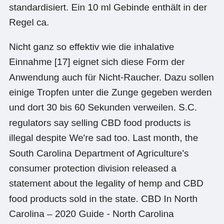standardisiert. Ein 10 ml Gebinde enthält in der Regel ca.
Nicht ganz so effektiv wie die inhalative Einnahme [17] eignet sich diese Form der Anwendung auch für Nicht-Raucher. Dazu sollen einige Tropfen unter die Zunge gegeben werden und dort 30 bis 60 Sekunden verweilen. S.C. regulators say selling CBD food products is illegal despite We're sad too. Last month, the South Carolina Department of Agriculture's consumer protection division released a statement about the legality of hemp and CBD food products sold in the state. CBD In North Carolina – 2020 Guide - North Carolina Dispensaries By now, most North Carolina residents know that CBD oil is legal in the state. But did you know that some of the other types of CBD products being sold in North Carolina are technically